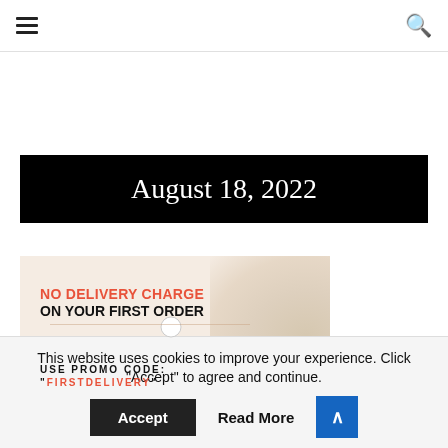≡  [search icon]
August 18, 2022
[Figure (infographic): Promotional banner: NO DELIVERY CHARGE ON YOUR FIRST ORDER. USE PROMO CODE: "FIRSTDELIVERY" on The Pushkin Delivery app. Background shows food imagery.]
This website uses cookies to improve your experience. Click "Accept" to agree and continue. Accept  Read More